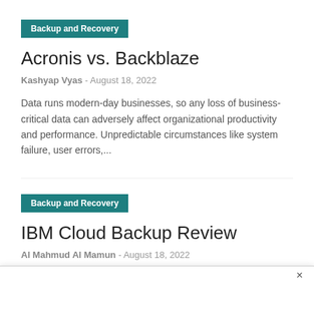Backup and Recovery
Acronis vs. Backblaze
Kashyap Vyas  -  August 18, 2022
Data runs modern-day businesses, so any loss of business-critical data can adversely affect organizational productivity and performance. Unpredictable circumstances like system failure, user errors,...
Backup and Recovery
IBM Cloud Backup Review
Al Mahmud Al Mamun  -  August 18, 2022
IBM Cloud Backup is an automated agent-based backup system that prov... servers i...